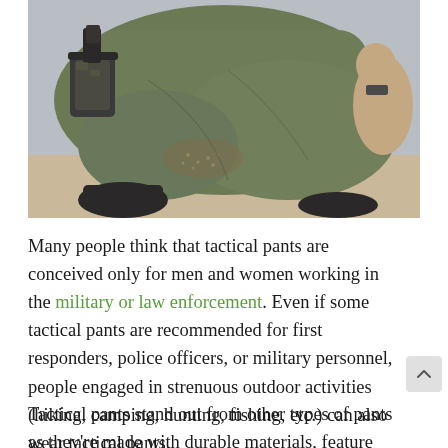[Figure (photo): A person crouching or kneeling outdoors on sandy/dirt ground, wearing olive/khaki tactical pants with a holster on their hip containing a weapon. The person's legs and lower torso are visible, wearing boots. The background shows a grey sky and sandy terrain.]
Many people think that tactical pants are conceived only for men and women working in the military or law enforcement. Even if some tactical pants are recommended for first responders, police officers, or military personnel, people engaged in strenuous outdoor activities (hiking, camping, hunting, fishing, etc.) can also wear tactical pants.
Tactical pants stand out from other types of pants as they're made with durable materials, feature several pockets and